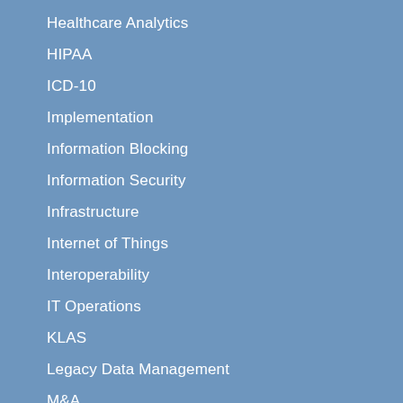Healthcare Analytics
HIPAA
ICD-10
Implementation
Information Blocking
Information Security
Infrastructure
Internet of Things
Interoperability
IT Operations
KLAS
Legacy Data Management
M&A
Meaningful Use
MIPS/MACRA
New Facilities
NUIT Week